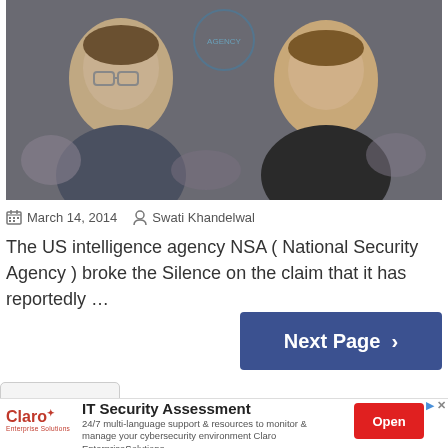[Figure (photo): Two men side by side: a man with glasses on the left (Edward Snowden) and a man on the right (Mark Zuckerberg), with a partial government agency seal visible in the background.]
March 14, 2014  Swati Khandelwal
The US intelligence agency NSA ( National Security Agency ) broke the Silence on the claim that it has reportedly …
Next Page >
IT Security Assessment
24/7 multi-language support & resources to monitor & manage your cybersecurity environment Claro EnterpriseSolutions
Open